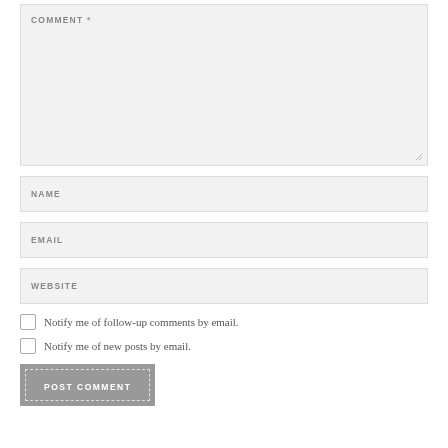COMMENT *
NAME
EMAIL
WEBSITE
Notify me of follow-up comments by email.
Notify me of new posts by email.
POST COMMENT